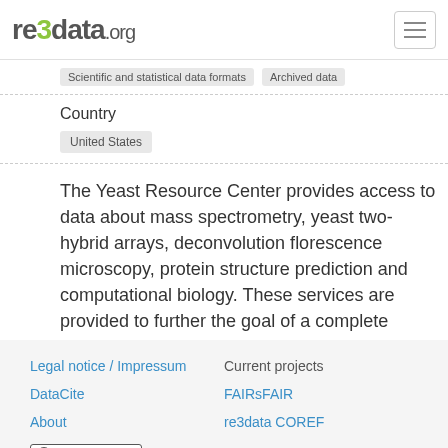re3data.org
Scientific and statistical data formats   Archived data
Country
United States
The Yeast Resource Center provides access to data about mass spectrometry, yeast two-hybrid arrays, deconvolution florescence microscopy, protein structure prediction and computational biology. These services are provided to further the goal of a complete understanding of the chemical interactions required for the maintenance
Legal notice / Impressum   Current projects   DataCite   FAIRsFAIR   About   re3data COREF   [PUBLIC DOMAIN] To the extent possible under law, re3data.org has waived all copyright and related or neighboring rights to the database entries of re3data.org.   [CC BY] Except where otherwise noted, content on this